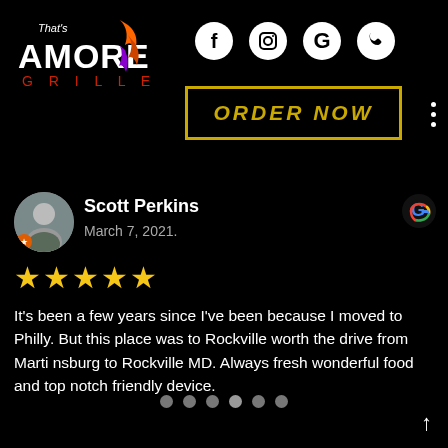[Figure (logo): That's Amore Grille logo with flame graphic, white and red text on black background]
[Figure (infographic): Social media icons: Facebook (f), Instagram, Google (G), and phone handset icon, white circles on black background]
[Figure (infographic): ORDER NOW button with gold border and gold italic text on black background]
[Figure (photo): Scott Perkins profile photo - circular avatar, man outdoors]
Scott Perkins
March 7, 2021.
[Figure (infographic): 5 yellow star rating icons]
It's been a few years since I've been because I moved to Philly. But this place was to Rockville worth the drive from Marti nsburg to Rockville MD. Always fresh wonderful food and top notch friendly device.
[Figure (infographic): Six grey pagination dots, one slightly highlighted]
[Figure (infographic): Up arrow navigation button]